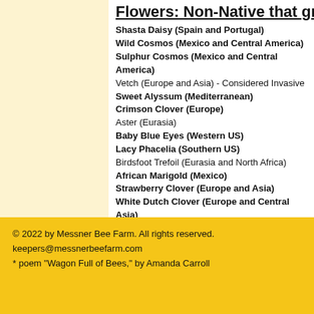Flowers: Non-Native that grow in
Shasta Daisy (Spain and Portugal)
Wild Cosmos (Mexico and Central America)
Sulphur Cosmos (Mexico and Central America)
Vetch (Europe and Asia) - Considered Invasive
Sweet Alyssum (Mediterranean)
Crimson Clover (Europe)
Aster (Eurasia)
Baby Blue Eyes (Western US)
Lacy Phacelia (Southern US)
Birdsfoot Trefoil (Eurasia and North Africa)
African Marigold (Mexico)
Strawberry Clover (Europe and Asia)
White Dutch Clover (Europe and Central Asia)
Zinnia (Southern US + Mexico)
© 2022 by Messner Bee Farm. All rights reserved.
keepers@messnerbeefarm.com
* poem "Wagon Full of Bees," by Amanda Carroll